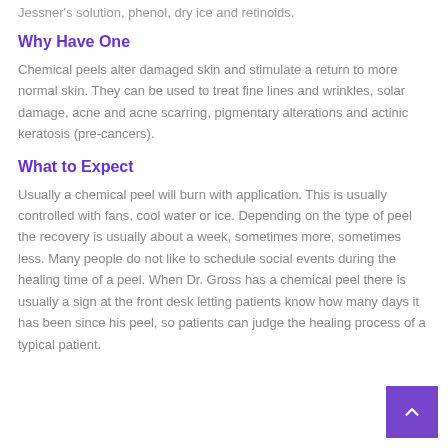Jessner's solution, phenol, dry ice and retinoids.
Why Have One
Chemical peels alter damaged skin and stimulate a return to more normal skin. They can be used to treat fine lines and wrinkles, solar damage, acne and acne scarring, pigmentary alterations and actinic keratosis (pre-cancers).
What to Expect
Usually a chemical peel will burn with application. This is usually controlled with fans, cool water or ice. Depending on the type of peel the recovery is usually about a week, sometimes more, sometimes less. Many people do not like to schedule social events during the healing time of a peel. When Dr. Gross has a chemical peel there is usually a sign at the front desk letting patients know how many days it has been since his peel, so patients can judge the healing process of a typical patient.